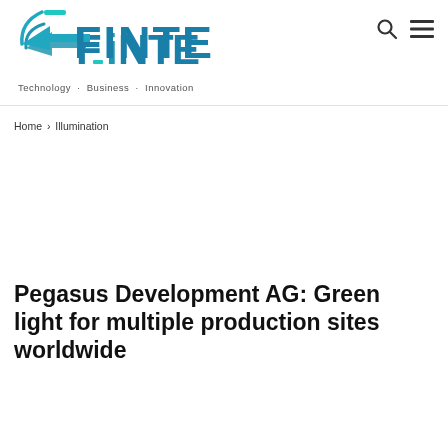[Figure (logo): FINTECH logo with tagline Technology · Business · Innovation]
Home › Illumination
Pegasus Development AG: Green light for multiple production sites worldwide